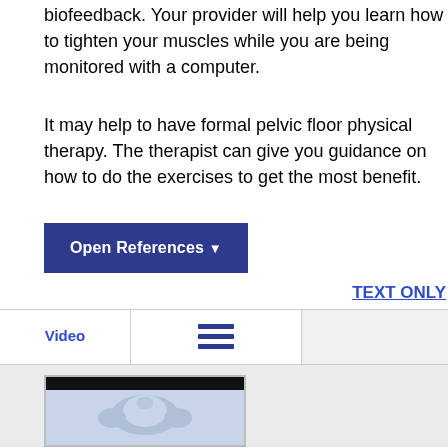biofeedback. Your provider will help you learn how to tighten your muscles while you are being monitored with a computer.
It may help to have formal pelvic floor physical therapy. The therapist can give you guidance on how to do the exercises to get the most benefit.
Open References ▾
TEXT ONLY
Video
[Figure (screenshot): Video thumbnail showing a person's torso/body, with a black bar at the top, used as a video player preview image.]